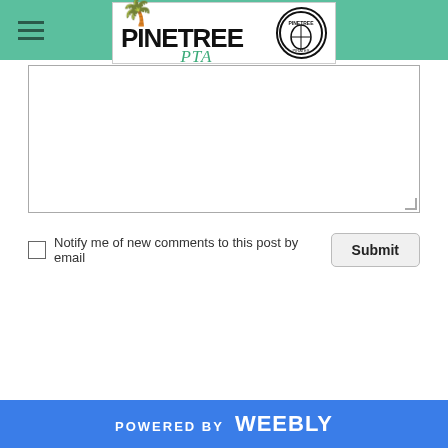Pinetree PTA — site header with logo and hamburger menu
[Figure (other): Text area input box for comment submission, with resize handle at bottom-right corner]
Notify me of new comments to this post by email
Submit
POWERED BY weebly